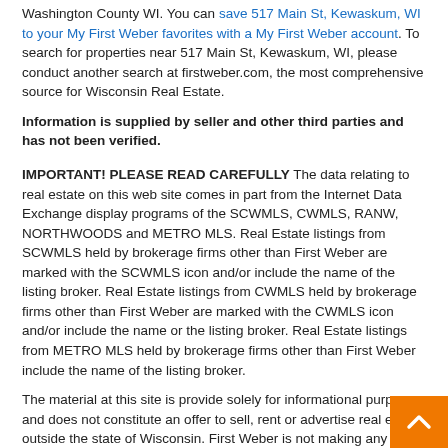Washington County WI. You can save 517 Main St, Kewaskum, WI to your My First Weber favorites with a My First Weber account. To search for properties near 517 Main St, Kewaskum, WI, please conduct another search at firstweber.com, the most comprehensive source for Wisconsin Real Estate.
Information is supplied by seller and other third parties and has not been verified.
IMPORTANT! PLEASE READ CAREFULLY The data relating to real estate on this web site comes in part from the Internet Data Exchange display programs of the SCWMLS, CWMLS, RANW, NORTHWOODS and METRO MLS. Real Estate listings from SCWMLS held by brokerage firms other than First Weber are marked with the SCWMLS icon and/or include the name of the listing broker. Real Estate listings from CWMLS held by brokerage firms other than First Weber are marked with the CWMLS icon and/or include the name or the listing broker. Real Estate listings from METRO MLS held by brokerage firms other than First Weber include the name of the listing broker.
The material at this site is provide solely for informational purposes and does not constitute an offer to sell, rent or advertise real estate outside the state of Wisconsin. First Weber is not making any warranties or representations concerning any of these properties including their availability. Information at this site is deemed reliable but not guaranteed. All property search information, whether by criteria or b